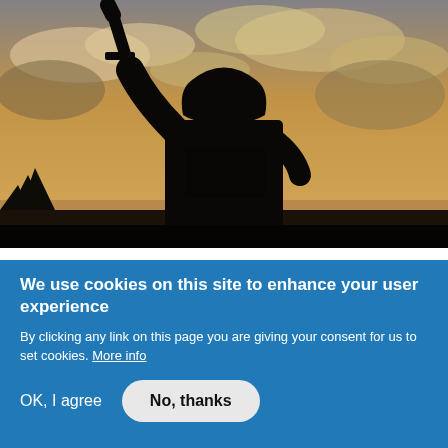[Figure (photo): Dark silhouette of a person holding a weapon (rifle) raised above their head against a warm golden sunset sky with clouds. The figure appears to be wearing tactical/military gear.]
Preparing to mitigate extremism and terrorism
Posted on: Thursday 24 September 2020
We use cookies on this site to enhance your user experience
By clicking any link on this page you are giving your consent for us to set cookies. More info